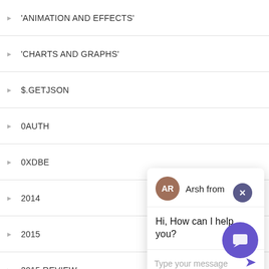'ANIMATION AND EFFECTS'
'CHARTS AND GRAPHS'
$.GETJSON
0AUTH
0XDBE
2014
2015
2015 REVIEW
2016 CONFERENCE
[Figure (screenshot): Chat popup overlay with avatar 'AR' for 'Arsh from', message 'Hi, How can I help you?', and input field 'Type your message' with send arrow button. Close button (X) in top right corner. Purple chat launcher bubble in bottom right corner.]